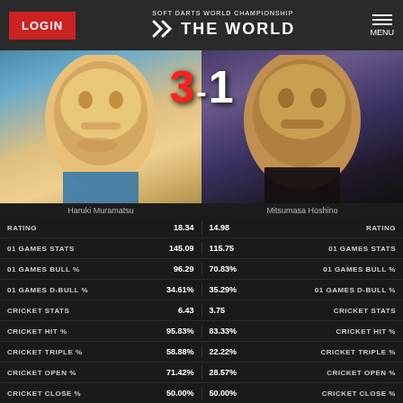LOGIN | SOFT DARTS WORLD CHAMPIONSHIP THE WORLD | MENU
[Figure (photo): Two player photos side by side: Haruki Muramatsu (left) and Mitsumasa Hoshino (right) with score 3-1 overlaid]
Haruki Muramatsu
Mitsumasa Hoshino
| STAT | Muramatsu | Hoshino | STAT |
| --- | --- | --- | --- |
| RATING | 18.34 | 14.98 | RATING |
| 01 GAMES STATS | 145.09 | 115.75 | 01 GAMES STATS |
| 01 GAMES BULL % | 96.29 | 70.83% | 01 GAMES BULL % |
| 01 GAMES D-BULL % | 34.61% | 35.29% | 01 GAMES D-BULL % |
| CRICKET STATS | 6.43 | 3.75 | CRICKET STATS |
| CRICKET HIT % | 95.83% | 83.33% | CRICKET HIT % |
| CRICKET TRIPLE % | 58.88% | 22.22% | CRICKET TRIPLE % |
| CRICKET OPEN % | 71.42% | 28.57% | CRICKET OPEN % |
| CRICKET CLOSE % | 50.00% | 50.00% | CRICKET CLOSE % |
HAT TRICK: 9 | THREE IN A BED: 1
HAT TRICK: 5 | LON TON: 5